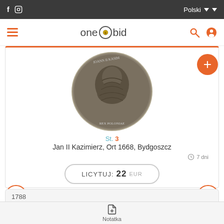f  [instagram icon]   Polski
one bid
[Figure (photo): Close-up photograph of an antique silver coin showing a portrait (Jan II Kazimierz), viewed from the obverse side. The coin is dark/tarnished silver.]
St. 3
Jan II Kazimierz, Ort 1668, Bydgoszcz
7 dni
LICYTUJ: 22 EUR
1788
Notatka